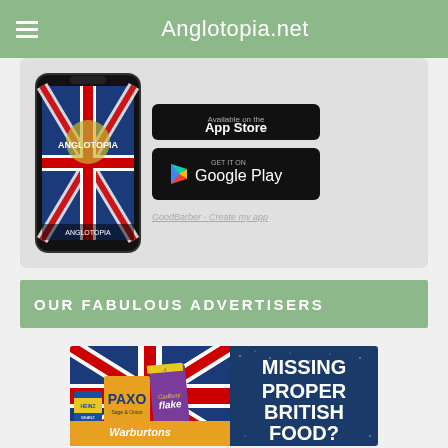Anglotopia.net
[Figure (screenshot): App promotion card showing Anglotopia phone app with App Store and Google Play download buttons, and a GoodBarber credit link]
OUR FABULOUS ADVERTISERS
[Figure (photo): Advertisement banner for British food products showing Heinz Beanz, Paxo, Cadbury Flake, Warburtons on a Union Jack background with text 'MISSING PROPER BRITISH FOOD?']